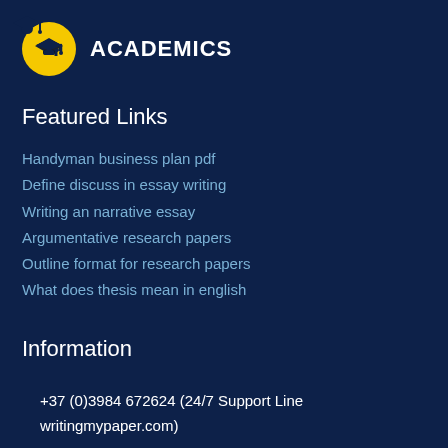ACADEMICS
Featured Links
Handyman business plan pdf
Define discuss in essay writing
Writing an narrative essay
Argumentative research papers
Outline format for research papers
What does thesis mean in english
Information
+37 (0)3984 672624 (24/7 Support Line writingmypaper.com)